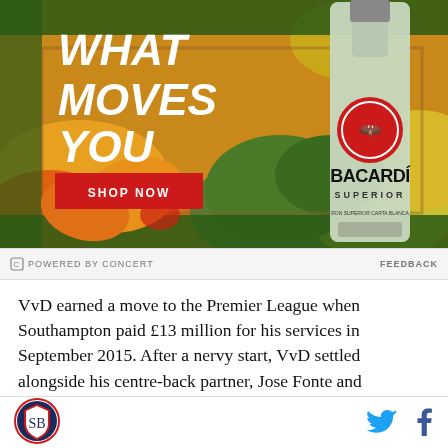[Figure (photo): Bacardi Superior rum advertisement. Background of tropical fruits (mangoes, watermelons, papayas) with green palm fronds border. Large white italic text reads WHAT MOVES YOU. Red button with white text SHOP NOW. A Bacardi Superior bottle on the right side.]
POWERED BY CONCERT
FEEDBACK
VvD earned a move to the Premier League when Southampton paid £13 million for his services in September 2015. After a nervy start, VvD settled alongside his centre-back partner, Jose Fonte and
[Figure (logo): SB Nation circular shield logo with eagle]
[Figure (logo): Twitter bird icon in blue]
[Figure (logo): Facebook f icon in dark blue]